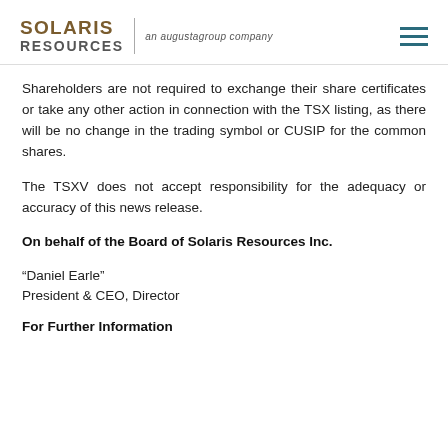SOLARIS RESOURCES | an augustagroup company
Shareholders are not required to exchange their share certificates or take any other action in connection with the TSX listing, as there will be no change in the trading symbol or CUSIP for the common shares.
The TSXV does not accept responsibility for the adequacy or accuracy of this news release.
On behalf of the Board of Solaris Resources Inc.
“Daniel Earle”
President & CEO, Director
For Further Information